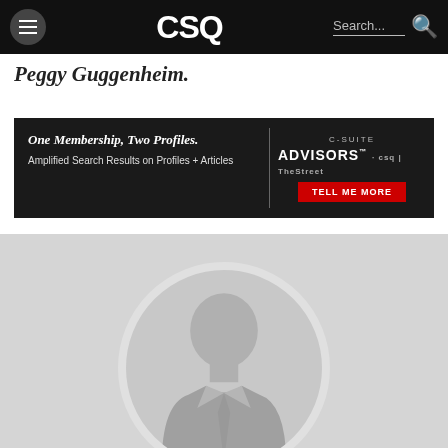CSQ | Search...
Peggy Guggenheim.
[Figure (infographic): C-Suite Advisors advertisement banner: 'One Membership, Two Profiles. Amplified Search Results on Profiles + Articles' with a 'TELL ME MORE' red button]
[Figure (photo): Default placeholder profile avatar showing a grey silhouette of a person in a suit inside a circular frame on a light grey background]
LinkedIn | Twitter | Facebook | Email social icons